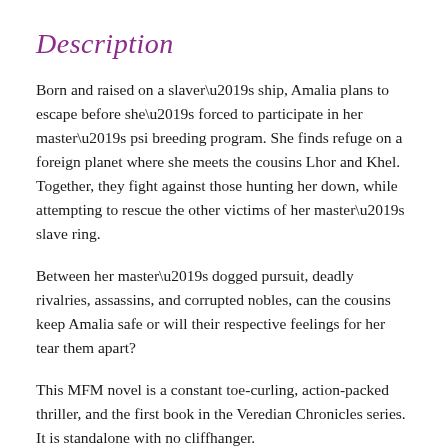Description
Born and raised on a slaver’s ship, Amalia plans to escape before she’s forced to participate in her master’s psi breeding program. She finds refuge on a foreign planet where she meets the cousins Lhor and Khel. Together, they fight against those hunting her down, while attempting to rescue the other victims of her master’s slave ring.
Between her master’s dogged pursuit, deadly rivalries, assassins, and corrupted nobles, can the cousins keep Amalia safe or will their respective feelings for her tear them apart?
This MFM novel is a constant toe-curling, action-packed thriller, and the first book in the Veredian Chronicles series. It is standalone with no cliffhanger.